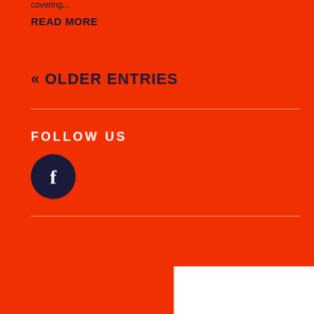covering...
READ MORE
« OLDER ENTRIES
FOLLOW US
[Figure (illustration): Dark navy circular Facebook icon button with white 'f' letter on orange background]
[Figure (illustration): White rectangle box in bottom-right corner]